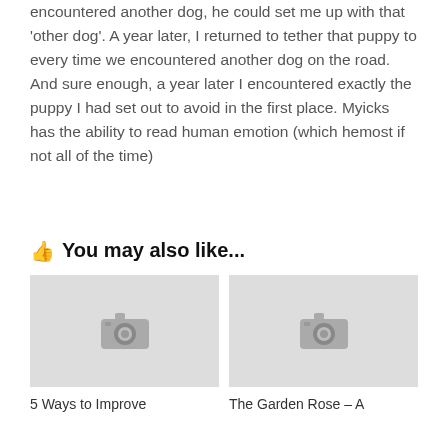encountered another dog, he could set me up with that 'other dog'. A year later, I returned to tether that puppy to every time we encountered another dog on the road. And sure enough, a year later I encountered exactly the puppy I had set out to avoid in the first place. Myicks has the ability to read human emotion (which hemost if not all of the time)
You may also like...
[Figure (photo): Placeholder image thumbnail with camera icon (left card)]
5 Ways to Improve
[Figure (photo): Placeholder image thumbnail with camera icon (right card)]
The Garden Rose – A